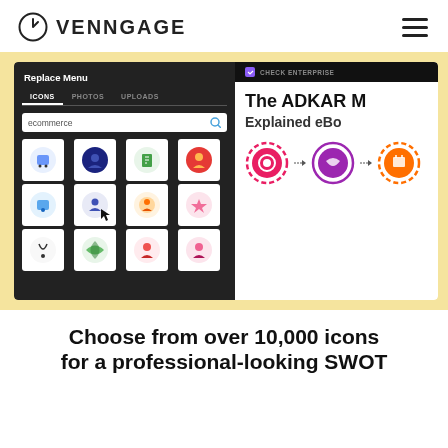VENNGAGE
[Figure (screenshot): Screenshot of Venngage icon editor showing a Replace Menu with tabs for Icons, Photos, Uploads, a search field with 'ecommerce' typed in, a grid of colorful icons, and on the right side a partial view of 'The ADKAR M Explained eBo' with three connected circular icons in pink, purple, and orange on a cream/yellow background.]
Choose from over 10,000 icons for a professional-looking SWOT